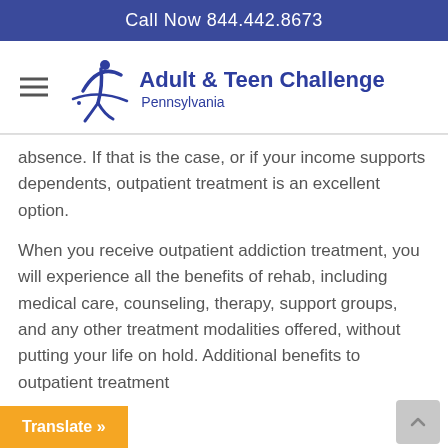Call Now 844.442.8673
[Figure (logo): Adult & Teen Challenge Pennsylvania logo with stylized figure]
absence. If that is the case, or if your income supports dependents, outpatient treatment is an excellent option.
When you receive outpatient addiction treatment, you will experience all the benefits of rehab, including medical care, counseling, therapy, support groups, and any other treatment modalities offered, without putting your life on hold. Additional benefits to outpatient treatment